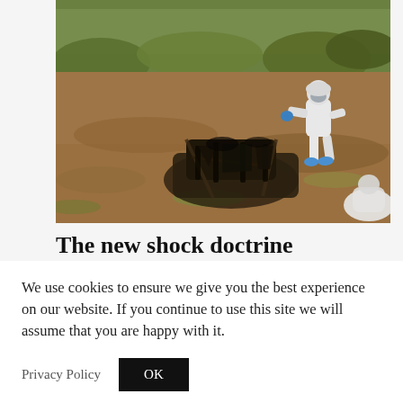[Figure (photo): A forensic investigator in a white hazmat suit walking across an ochre-brown field, with the burned-out wreck of a car visible in the foreground and shrubs/trees in the background.]
The new shock doctrine
We use cookies to ensure we give you the best experience on our website. If you continue to use this site we will assume that you are happy with it.
Privacy Policy   OK